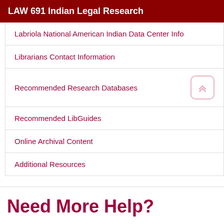LAW 691 Indian Legal Research
Labriola National American Indian Data Center Info
Librarians Contact Information
Recommended Research Databases
Recommended LibGuides
Online Archival Content
Additional Resources
Need More Help?